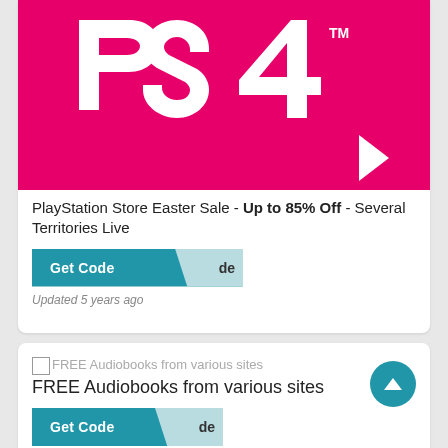[Figure (illustration): PlayStation 4 (PS4) logo on a magenta/hot-pink background with a white right-arrow chevron in the lower right corner]
PlayStation Store Easter Sale - Up to 85% Off - Several Territories Live
Get Code (button) de
Updated 5 years ago
[Figure (illustration): Broken image icon placeholder]
FREE Audiobooks from various sites
FREE Audiobooks from various sites